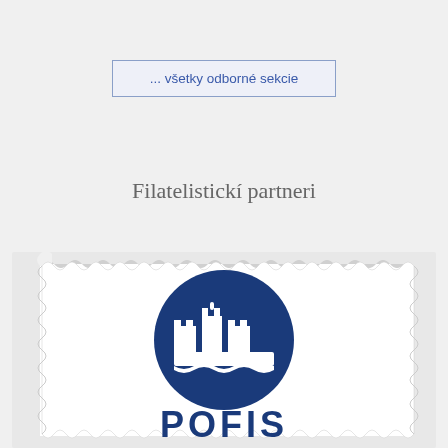... všetky odborné sekcie
Filatelistickí partneri
[Figure (logo): Stamp-shaped frame with perforated edges containing a blue circular logo with a castle/fortress silhouette in white and bold blue letters 'POFIS' at the bottom]